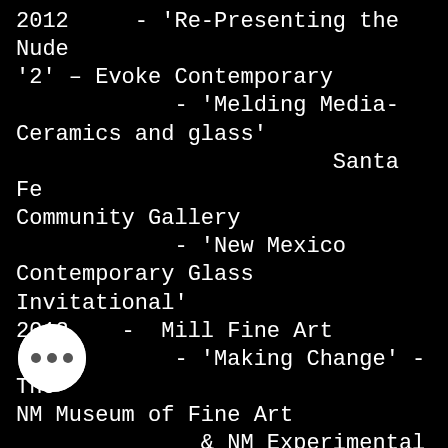2012     - 'Re-Presenting the Nude '2' – Evoke Contemporary
            - 'Melding Media- Ceramics and glass'
                        Santa Fe Community Gallery
            - 'New Mexico Contemporary Glass Invitational'
2012    -  Mill Fine Art
            - 'Making Change' - The NM Museum of Fine Art
              & NM Experimental Glass Work Shop
2011     - 'Dia De Los Muertos' – New Mexico Cultural Museum
              & NM Experimental Glass Workshop
            - 'Mixing Media' - Goler fine Imported Shoes
            - 'The Sole of Art' – [D] Light Glass, Santa Fe NM
            - 'While the Cats Away, the Kittons Will Play'
[Figure (other): White circular button with three horizontal dots (ellipsis menu icon)]